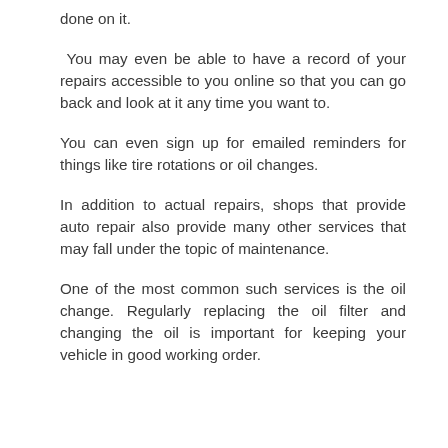done on it.
You may even be able to have a record of your repairs accessible to you online so that you can go back and look at it any time you want to.
You can even sign up for emailed reminders for things like tire rotations or oil changes.
In addition to actual repairs, shops that provide auto repair also provide many other services that may fall under the topic of maintenance.
One of the most common such services is the oil change. Regularly replacing the oil filter and changing the oil is important for keeping your vehicle in good working order.